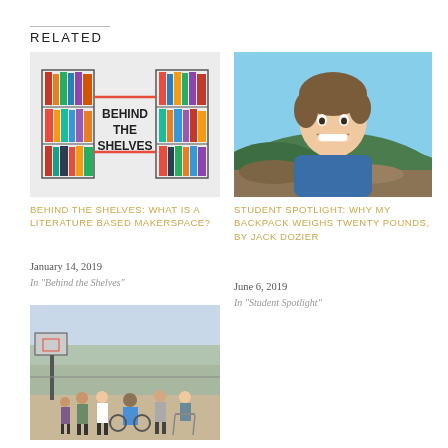RELATED
[Figure (illustration): Behind the Shelves logo with two bookshelves connected by red horizontal bar and bold text 'BEHIND THE SHELVES']
BEHIND THE SHELVES: WHAT IS A LITERATURE BASED MAKERSPACE?
January 14, 2019
In "Behind the Shelves"
[Figure (photo): Young smiling boy with brown hair outdoors with green hills and sky in background]
STUDENT SPOTLIGHT: WHY MY BACKPACK WEIGHS TWENTY POUNDS, BY JACK DOZIER
June 6, 2019
In "Student Spotlight"
[Figure (photo): Group of students outdoors at a basketball court, one in a wheelchair, others standing around]
QUEST: HOW CAN WE MAKE